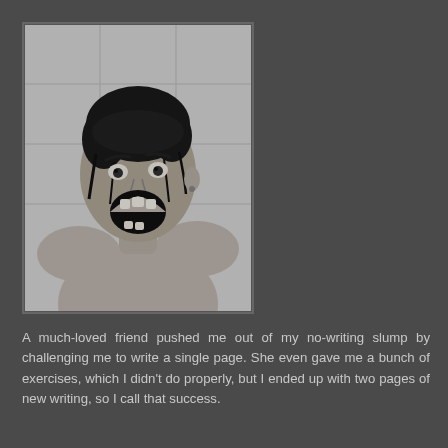[Figure (photo): Black and white photograph of a woman screaming, shot in a shower setting reminiscent of a classic horror film scene.]
A much-loved friend pushed me out of my no-writing slump by challenging me to write a single page. She even gave me a bunch of exercises, which I didn't do properly, but I ended up with two pages of new writing, so I call that success.